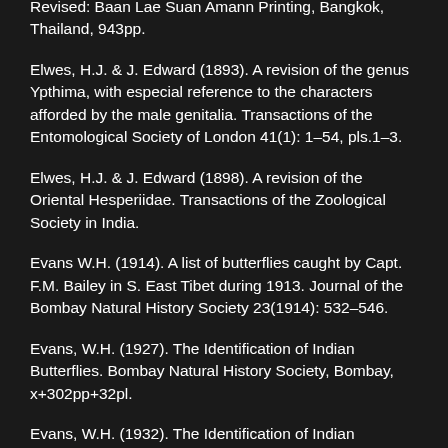Revised: Baan Lae Suan Amann Printing, Bangkok, Thailand, 943pp.
Elwes, H.J. & J. Edward (1893). A revision of the genus Ypthima, with especial reference to the characters afforded by the male genitalia. Transactions of the Entomological Society of London 41(1): 1â€"54, pls.1â€"3.
Elwes, H.J. & J. Edward (1898). A revision of the Oriental Hesperiidae. Transactions of the Zoological Society in India.
Evans W.H. (1914). A list of butterflies caught by Capt. F.M. Bailey in S. East Tibet during 1913. Journal of the Bombay Natural History Society 23(1914): 532â€"546.
Evans, W.H. (1927). The Identification of Indian Butterflies. Bombay Natural History Society, Bombay, x+302pp+32pl.
Evans, W.H. (1932). The Identification of Indian Butterflies. 2nd Revised Edition. Bombay Natural History Society, Bombay, x+454pp+32pl.
Evans, W.H. (1949). A catalogue of the Hesperiidae from